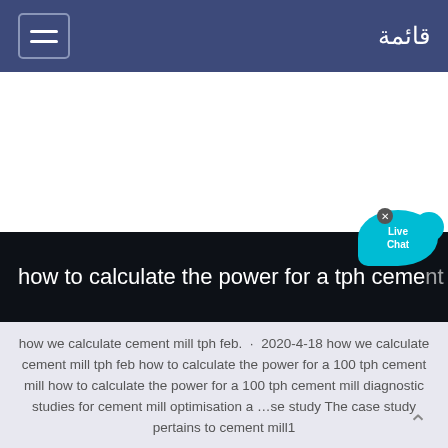قائمة
how to calculate the power for a tph cement mill
how we calculate cement mill tph feb.  ·  2020-4-18 how we calculate cement mill tph feb how to calculate the power for a 100 tph cement mill how to calculate the power for a 100 tph cement mill diagnostic studies for cement mill optimisation a …se study The case study pertains to cement mill1